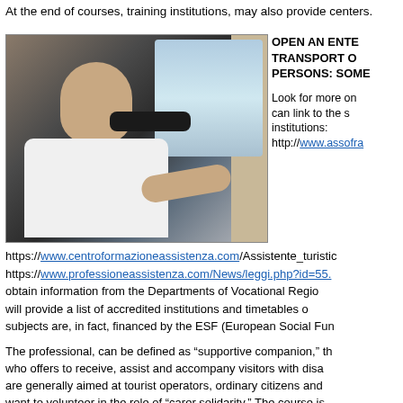At the end of courses, training institutions, may also provide centers.
[Figure (photo): A young man wearing sunglasses sitting in the driver seat of a car, viewed from the passenger side. He is wearing a white t-shirt and has his arm extended toward the steering wheel. A bright landscape with water or road is visible through the car window.]
OPEN AN ENTERPRISE OF TRANSPORT OF PERSONS: SOME
Look for more on the site, can link to the site of the institutions: http://www.assofra
https://www.centroformazioneassistenza.com/Assistente_turistic https://www.professioneassistenza.com/News/leggi.php?id=55. obtain information from the Departments of Vocational Regio will provide a list of accredited institutions and timetables o subjects are, in fact, financed by the ESF (European Social Fun
The professional, can be defined as “supportive companion,” th who offers to receive, assist and accompany visitors with disa are generally aimed at tourist operators, ordinary citizens and want to volunteer in the role of “carer solidarity.” The course is